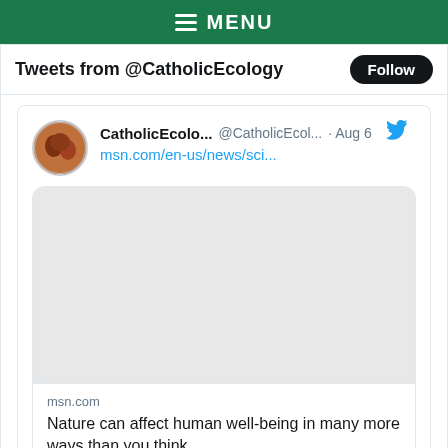≡ MENU
Tweets from @CatholicEcology
[Figure (screenshot): Twitter/social media embed showing a tweet from CatholicEcolo... (@CatholicEcol...) dated Aug 6, with a link msn.com/en-us/news/sci..., a card with a blank image preview, source 'msn.com', and title 'Nature can affect human well-being in many more ways than you think'. The tweet has 3 likes shown.]